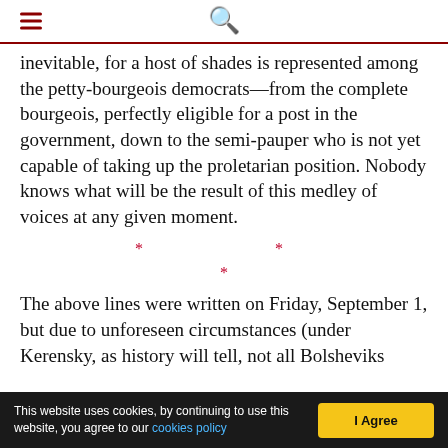☰ 🔍
inevitable, for a host of shades is represented among the petty-bourgeois democrats—from the complete bourgeois, perfectly eligible for a post in the government, down to the semi-pauper who is not yet capable of taking up the proletarian position. Nobody knows what will be the result of this medley of voices at any given moment.
* *
 *
The above lines were written on Friday, September 1, but due to unforeseen circumstances (under Kerensky, as history will tell, not all Bolsheviks
This website uses cookies, by continuing to use this website, you agree to our cookies policy    I Agree